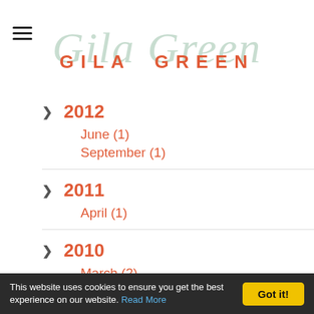Gila Green GILA GREEN
> 2012
June (1)
September (1)
> 2011
April (1)
> 2010
March (2)
> 2009
January (1)
March (4)
This website uses cookies to ensure you get the best experience on our website. Read More  Got it!